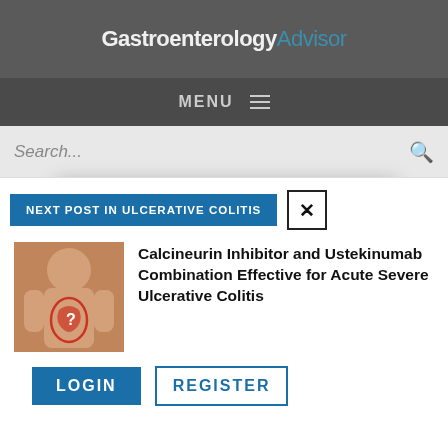GastroenterologyAdvisor
MENU
Search...
Enjoying our content?
Thanks for visiting Gastroenterology Advisor. We hope you’re enjoying the latest clinical news, full-length features, case studies, and more.
NEXT POST IN ULCERATIVE COLITIS
[Figure (illustration): Medical illustration of human torso showing digestive system with a red highlighted stomach/intestine area]
Calcineurin Inhibitor and Ustekinumab Combination Effective for Acute Severe Ulcerative Colitis
LOGIN
REGISTER